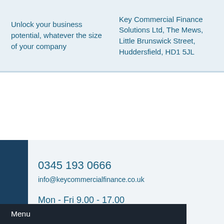Unlock your business potential, whatever the size of your company
Key Commercial Finance Solutions Ltd, The Mews, Little Brunswick Street, Huddersfield, HD1 5JL
0345 193 0666
info@keycommercialfinance.co.uk
Mon - Fri 9.00 - 17.00
Menu